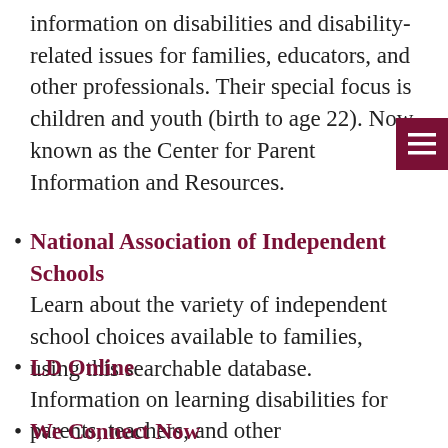information on disabilities and disability-related issues for families, educators, and other professionals. Their special focus is children and youth (birth to age 22). Now known as the Center for Parent Information and Resources.
National Association of Independent Schools
Learn about the variety of independent school choices available to families, using this searchable database.
LD Online
Information on learning disabilities for parents, teachers, and other professionals.
We Connect Now